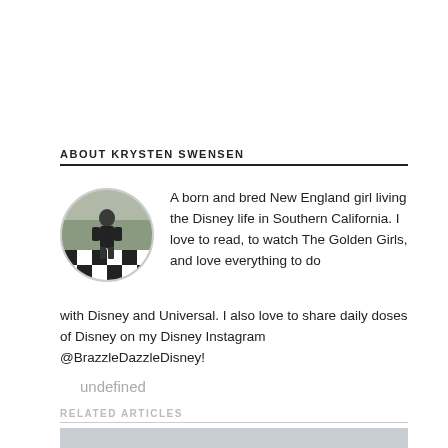ABOUT KRYSTEN SWENSEN
[Figure (photo): Circular avatar photo of Krysten Swensen standing on a checkered black and white floor in a park or outdoor Disney setting]
A born and bred New England girl living the Disney life in Southern California. I love to read, to watch The Golden Girls, and love everything to do with Disney and Universal. I also love to share daily doses of Disney on my Disney Instagram @BrazzleDazzleDisney!
undefined
RELATED ARTICLES
[Figure (photo): Partial image strip visible at bottom of page]